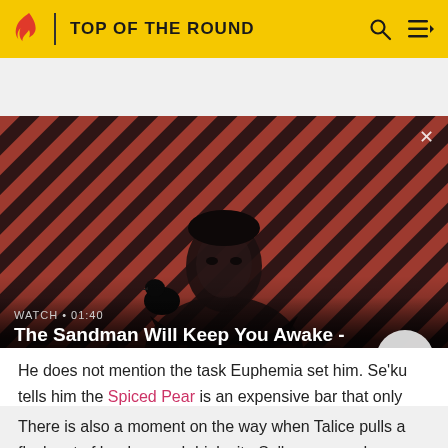TOP OF THE ROUND
[Figure (photo): A dark figure with a raven on their shoulder against a red and dark diagonal striped background. Video thumbnail for 'The Sandman Will Keep You Awake - The Loop'. Watch time shown as 01:40.]
WATCH • 01:40
The Sandman Will Keep You Awake - The Loop
He does not mention the task Euphemia set him. Se'ku tells him the Spiced Pear is an expensive bar that only serves the upper class.
There is also a moment on the way when Talice pulls a flask out of her bag and drinks it.  Se'ku sees and